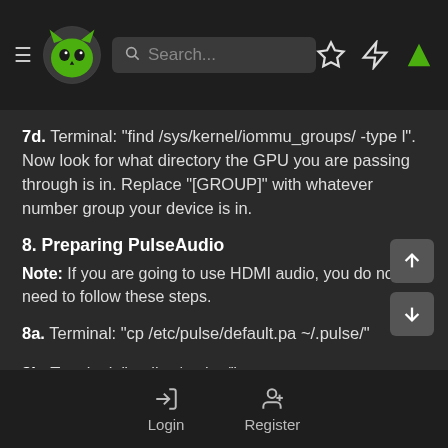Navigation header with logo, search bar, and icons
7d. Terminal: "find /sys/kernel/iommu_groups/ -type l". Now look for what directory the GPU you are passing through is in. Replace "[GROUP]" with whatever number group your device is in.
8. Preparing PulseAudio
Note: If you are going to use HDMI audio, you do not need to follow these steps.
8a. Terminal: "cp /etc/pulse/default.pa ~/.pulse/"
8b. Terminal: "gedit ~/.pulse/"
Login  Register